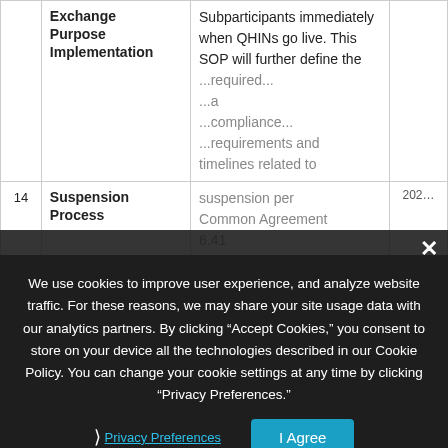| # | SOP Title | Description | Year |
| --- | --- | --- | --- |
|  | Exchange Purpose Implementation | Subparticipants immediately when QHINs go live. This SOP will further define the ... required ... SOP: |  |
| 14 | Suspension Process | ... per Common Agreement 6.41 ... requirements and timelines related to suspension ... | 202... |
We use cookies to improve user experience, and analyze website traffic. For these reasons, we may share your site usage data with our analytics partners. By clicking “Accept Cookies,” you consent to store on your device all the technologies described in our Cookie Policy. You can change your cookie settings at any time by clicking “Privacy Preferences.”